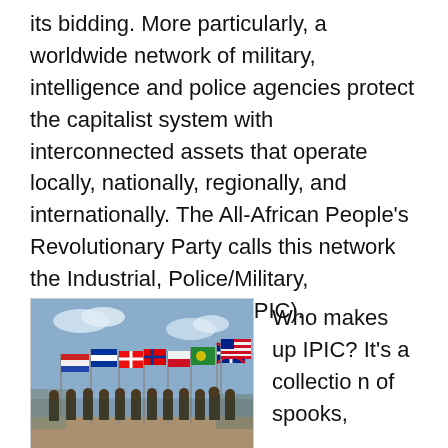its bidding. More particularly, a worldwide network of military, intelligence and police agencies protect the capitalist system with interconnected assets that operate locally, nationally, regionally, and internationally. The All-African People's Revolutionary Party calls this network the Industrial, Police/Military, Intelligence Complex (IPIC).
[Figure (photo): Military personnel standing in a row holding flags of various nations, photographed outdoors under a blue sky with clouds.]
IPIC Countries
Who makes up IPIC? It's a collection of spooks,